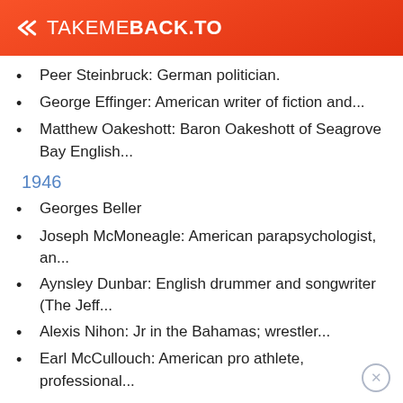TAKEMEBACK.TO
Peer Steinbruck: German politician.
George Effinger: American writer of fiction and...
Matthew Oakeshott: Baron Oakeshott of Seagrove Bay English...
1946
Georges Beller
Joseph McMoneagle: American parapsychologist, an...
Aynsley Dunbar: English drummer and songwriter (The Jeff...
Alexis Nihon: Jr in the Bahamas; wrestler...
Earl McCullouch: American pro athlete, professional...
1945
Rod Stewart: British musician born to Scottish...
Gunther von Hagens: German anatomist